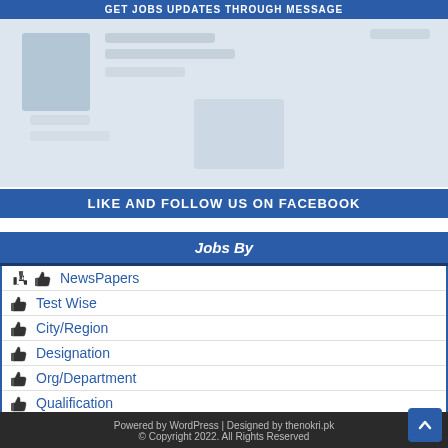GET JOBS UPDATES THROUGH MESSAGE
[Figure (screenshot): Blurred/redacted content area showing a social media or messaging interface with obscured images and text]
LIKE AND FOLLOW US ON FACEBOOK
Jobs By
NewsPapers
Test Wise
City/Region
Designation
Org/Department
Qualification
Powered by WordPress | Designed by thenokri.pk
© Copyright 2022. All Rights Reserved